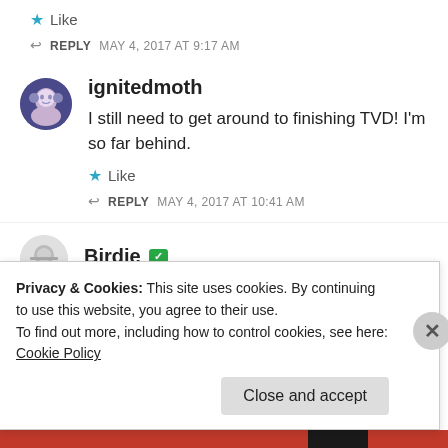★ Like
↩ REPLY   MAY 4, 2017 AT 9:17 AM
ignitedmoth
I still need to get around to finishing TVD! I'm so far behind.
★ Like
↩ REPLY   MAY 4, 2017 AT 10:41 AM
Birdie
Privacy & Cookies: This site uses cookies. By continuing to use this website, you agree to their use. To find out more, including how to control cookies, see here: Cookie Policy
Close and accept